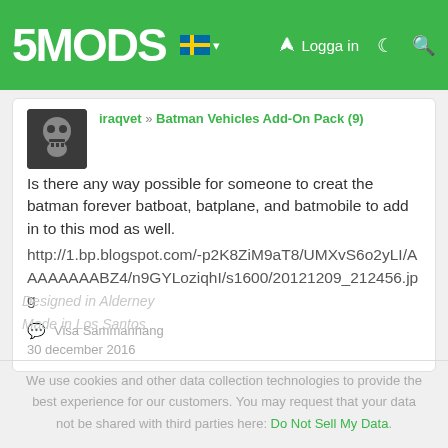5MODS | Logga in
iraqvet » Batman Vehicles Add-On Pack (9)
Is there any way possible for someone to creat the batman forever batboat, batplane, and batmobile to add in to this mod as well.
http://1.bp.blogspot.com/-p2K8ZiM9aT8/UMXvS6o2yLI/AAAAAAAABZ4/n9GYLoziqhI/s1600/20121209_212456.jpg
Visa Sammanhang
30 december 2016
Designed in Alderney
Made in Los Santos
We use cookies and other data collection technologies to provide the best experience for our customers. You may request that your data not be shared with third parties here: Do Not Sell My Data.